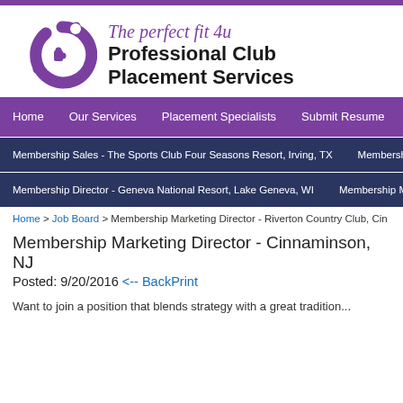[Figure (logo): Professional Club Placement Services logo — purple puzzle-piece C icon with tagline 'The perfect fit 4u' and bold company name below]
Home | Our Services | Placement Specialists | Submit Resume | Conta...
Membership Sales - The Sports Club Four Seasons Resort, Irving, TX | Membership Ma...
Membership Director - Geneva National Resort, Lake Geneva, WI | Membership Marketi...
Home > Job Board > Membership Marketing Director - Riverton Country Club, Cin...
Membership Marketing Director - Cinnaminson, NJ
Posted: 9/20/2016 <-- BackPrint
Want to join a position that blends strategy with a great tradition...